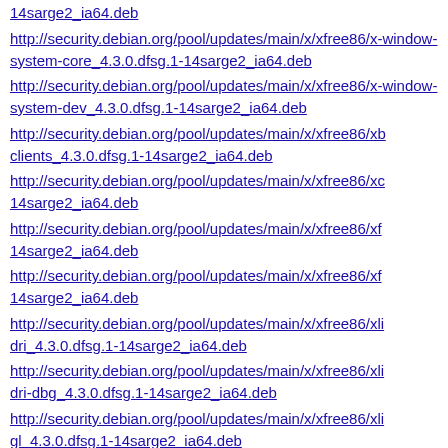14sarge2_ia64.deb
http://security.debian.org/pool/updates/main/x/xfree86/x-window-system-core_4.3.0.dfsg.1-14sarge2_ia64.deb
http://security.debian.org/pool/updates/main/x/xfree86/x-window-system-dev_4.3.0.dfsg.1-14sarge2_ia64.deb
http://security.debian.org/pool/updates/main/x/xfree86/xb clients_4.3.0.dfsg.1-14sarge2_ia64.deb
http://security.debian.org/pool/updates/main/x/xfree86/xc 14sarge2_ia64.deb
http://security.debian.org/pool/updates/main/x/xfree86/xf 14sarge2_ia64.deb
http://security.debian.org/pool/updates/main/x/xfree86/xf 14sarge2_ia64.deb
http://security.debian.org/pool/updates/main/x/xfree86/xli dri_4.3.0.dfsg.1-14sarge2_ia64.deb
http://security.debian.org/pool/updates/main/x/xfree86/xli dri-dbg_4.3.0.dfsg.1-14sarge2_ia64.deb
http://security.debian.org/pool/updates/main/x/xfree86/xli gl_4.3.0.dfsg.1-14sarge2_ia64.deb